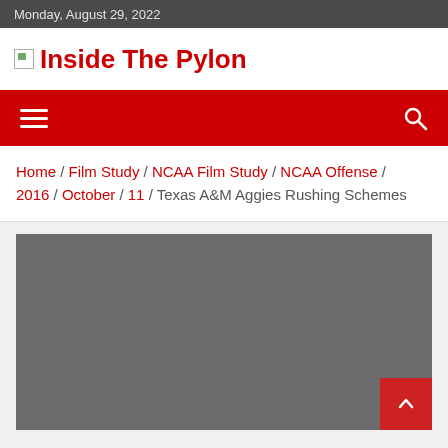Monday, August 29, 2022
[Figure (logo): Inside The Pylon website logo with small image icon and red bold text]
[Figure (other): Red navigation bar with hamburger menu icon on left and search icon on right]
Home / Film Study / NCAA Film Study / NCAA Offense / 2016 / October / 11 / Texas A&M Aggies Rushing Schemes
[Figure (other): Dark gray video embed placeholder area with a red back-to-top button on the right side]